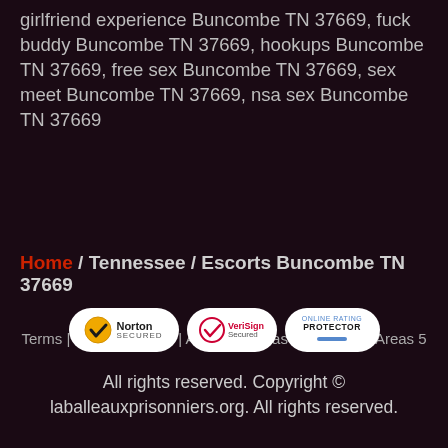girlfriend experience Buncombe TN 37669, fuck buddy Buncombe TN 37669, hookups Buncombe TN 37669, free sex Buncombe TN 37669, sex meet Buncombe TN 37669, nsa sex Buncombe TN 37669
Home / Tennessee / Escorts Buncombe TN 37669
Terms | Privacy | Areas | Areas 2 | Areas 3 | Areas 4 | Areas 5
All rights reserved. Copyright © laballeauxprisonniers.org. All rights reserved.
[Figure (logo): Three security badge logos: Norton Secured, VeriSign Secured, and Online Rating Protector]